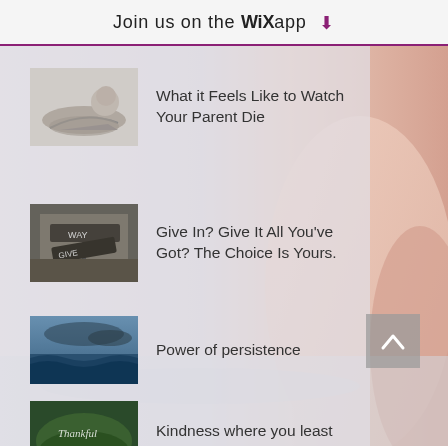Join us on the WiX app ⬇
What it Feels Like to Watch Your Parent Die
Give In? Give It All You've Got? The Choice Is Yours.
Power of persistence
Kindness where you least